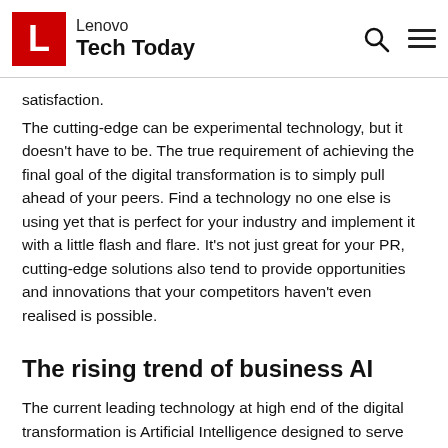Lenovo Tech Today
satisfaction.
The cutting-edge can be experimental technology, but it doesn't have to be. The true requirement of achieving the final goal of the digital transformation is to simply pull ahead of your peers. Find a technology no one else is using yet that is perfect for your industry and implement it with a little flash and flare. It's not just great for your PR, cutting-edge solutions also tend to provide opportunities and innovations that your competitors haven't even realised is possible.
The rising trend of business AI
The current leading technology at high end of the digital transformation is Artificial Intelligence designed to serve